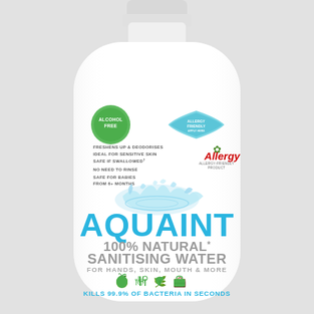[Figure (photo): White plastic bottle of Aquaint 100% Natural Sanitising Water for Hands, Skin, Mouth & More. The bottle has a white cap, is rounded, and displays the product label with green Alcohol Free badge, Friendly badge, Allergy UK logo, water splash imagery, bullet points listing benefits, the brand name AQUAINT in large blue letters, product description in grey, icons for apple/food/leaf/travel, and the claim KILLS 99.9% OF BACTERIA IN SECONDS in blue at the bottom.]